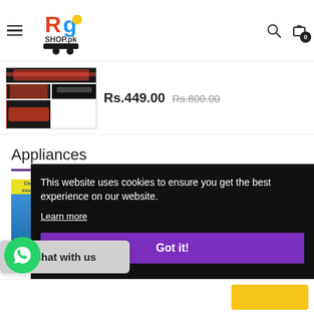[Figure (screenshot): RG Shop.pk logo with shopping cart icon]
[Figure (photo): Product photos of a black and red bag/organizer, shown in grid of 3 small images]
Rs.449.00  Rs.800.00
Appliances
[Figure (photo): Cooler/appliance product card with blue background and yellow label]
This website uses cookies to ensure you get the best experience on our website.
Learn more
Got it!
Chat with us